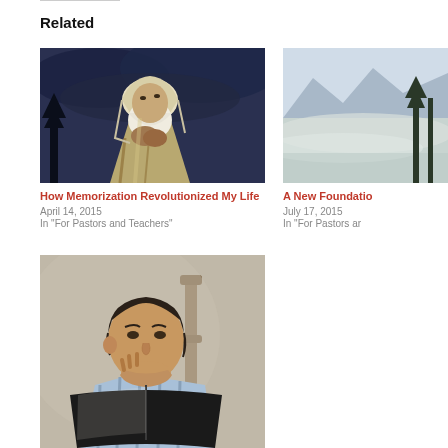Related
[Figure (photo): Painting of an elderly man with white beard and head covering, hands clasped in prayer, looking upward against a dark stormy sky with trees.]
How Memorization Revolutionized My Life
April 14, 2015
In "For Pastors and Teachers"
[Figure (photo): Partially visible photo of a landscape with mountains and misty valley.]
A New Foundatio
July 17, 2015
In "For Pastors ar
[Figure (photo): Photo of a young boy with dark hair reading a book, chin resting on hand, wearing a striped shirt, with a wooden chair visible in background.]